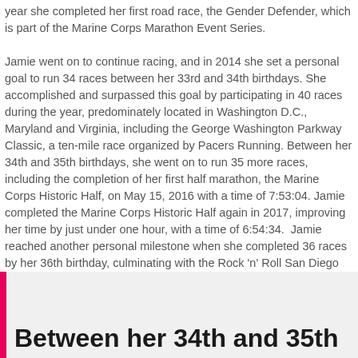year she completed her first road race, the Gender Defender, which is part of the Marine Corps Marathon Event Series.

Jamie went on to continue racing, and in 2014 she set a personal goal to run 34 races between her 33rd and 34th birthdays. She accomplished and surpassed this goal by participating in 40 races during the year, predominately located in Washington D.C., Maryland and Virginia, including the George Washington Parkway Classic, a ten-mile race organized by Pacers Running. Between her 34th and 35th birthdays, she went on to run 35 more races, including the completion of her first half marathon, the Marine Corps Historic Half, on May 15, 2016 with a time of 7:53:04. Jamie completed the Marine Corps Historic Half again in 2017, improving her time by just under one hour, with a time of 6:54:34. Jamie reached another personal milestone when she completed 36 races by her 36th birthday, culminating with the Rock 'n' Roll San Diego Half Marathon.
Between her 34th and 35th